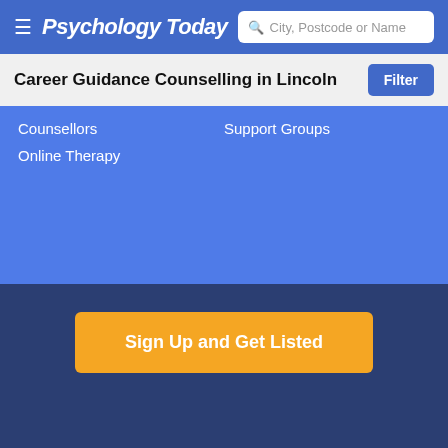Psychology Today
Career Guidance Counselling in Lincoln
Counsellors
Support Groups
Online Therapy
Sign Up and Get Listed
About   Careers   Privacy   Terms   Accessibility   United Kingdom   © 2023 Sussex Directories, Inc.